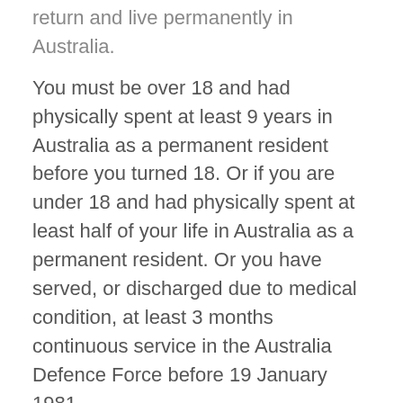return and live permanently in Australia.
You must be over 18 and had physically spent at least 9 years in Australia as a permanent resident before you turned 18. Or if you are under 18 and had physically spent at least half of your life in Australia as a permanent resident. Or you have served, or discharged due to medical condition, at least 3 months continuous service in the Australia Defence Force before 19 January 1981.
You must not be older than 45 when you apply for Australia Former Resident visa (Class CB) (Subclass 151). Click here to learn more.
In addition, you must not have been an Australian citizen and kept close active